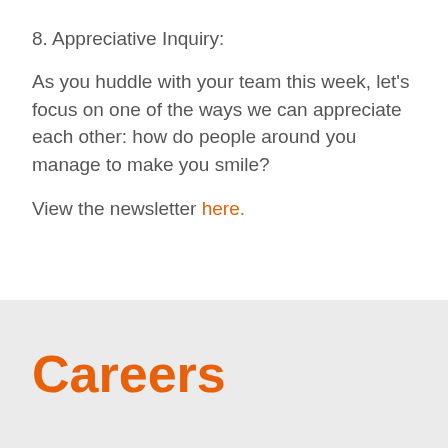8. Appreciative Inquiry:
As you huddle with your team this week, let's focus on one of the ways we can appreciate each other: how do people around you manage to make you smile?
View the newsletter here.
Careers